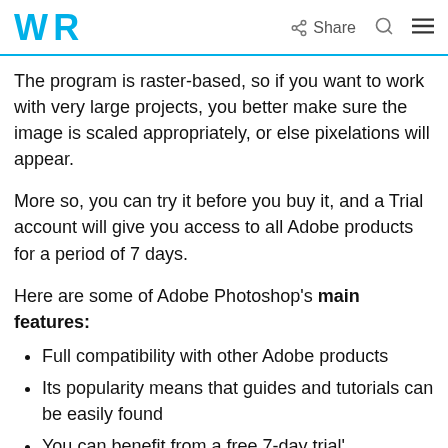WR | Share [search] [menu]
The program is raster-based, so if you want to work with very large projects, you better make sure the image is scaled appropriately, or else pixelations will appear.
More so, you can try it before you buy it, and a Trial account will give you access to all Adobe products for a period of 7 days.
Here are some of Adobe Photoshop's main features:
Full compatibility with other Adobe products
Its popularity means that guides and tutorials can be easily found
You can benefit from a free 7-day trial'
Extensive plug-in support